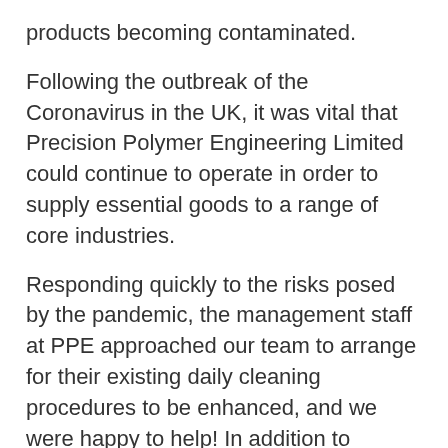products becoming contaminated.
Following the outbreak of the Coronavirus in the UK, it was vital that Precision Polymer Engineering Limited could continue to operate in order to supply essential goods to a range of core industries.
Responding quickly to the risks posed by the pandemic, the management staff at PPE approached our team to arrange for their existing daily cleaning procedures to be enhanced, and we were happy to help! In addition to providing Coronavirus fogging services as part of a monthly deep clean for their offices and production areas, we also increased our shift patterns in the factory to ensure the workplace would remain safe for all of their employees.